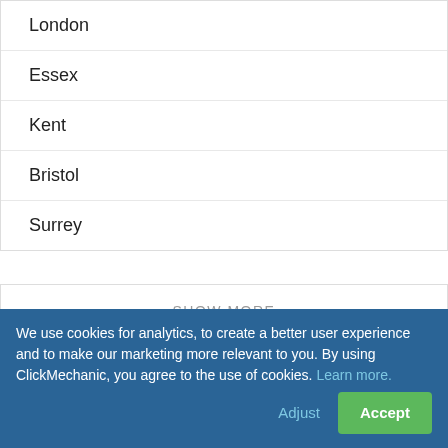London
Essex
Kent
Bristol
Surrey
SHOW MORE
POPULAR AREAS
We use cookies for analytics, to create a better user experience and to make our marketing more relevant to you. By using ClickMechanic, you agree to the use of cookies. Learn more.